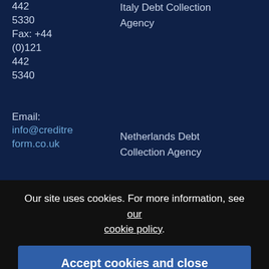442
5330
Fax: +44 (0)121 442 5340

Email:
info@creditreform.co.uk
Italy Debt Collection Agency
Netherlands Debt Collection Agency
Norway Debt Collection Agency
Poland Debt Collection Agency
Portugal Debt Collection Agency
Our site uses cookies. For more information, see our cookie policy.
Accept cookies and close
Reject cookies
Leave a message